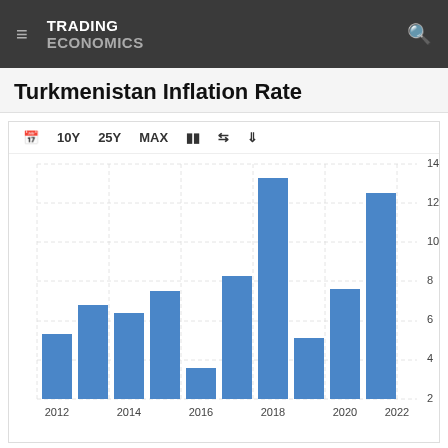TRADING ECONOMICS
Turkmenistan Inflation Rate
[Figure (bar-chart): Turkmenistan Inflation Rate]